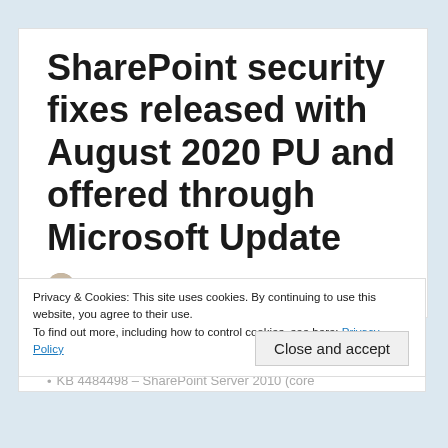SharePoint security fixes released with August 2020 PU and offered through Microsoft Update
Stefan Goßner - August 12, 2020 - 7 Comments
Privacy & Cookies: This site uses cookies. By continuing to use this website, you agree to their use. To find out more, including how to control cookies, see here: Privacy Policy
versions released this month.
SharePoint 2010 Suite:
KB 4484462 – SharePoint Foundation 2010
KB 4484498 – SharePoint Server 2010 (core